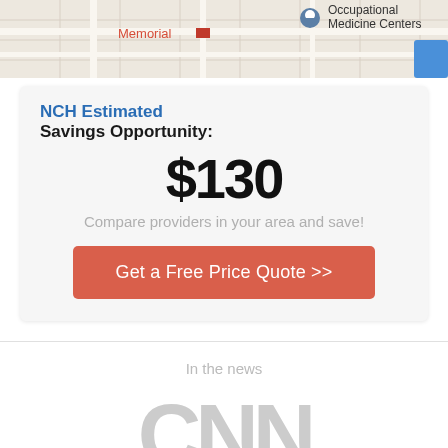[Figure (screenshot): Google Maps strip showing map with location pin near 'Memorial' label and 'Occupational Medicine Centers' label on right, with blue button at bottom right]
NCH Estimated
Savings Opportunity:
$130
Compare providers in your area and save!
Get a Free Price Quote >>
In the news
[Figure (logo): CNN logo in light gray]
[Figure (logo): The Seattle Times logo in light gray serif font]